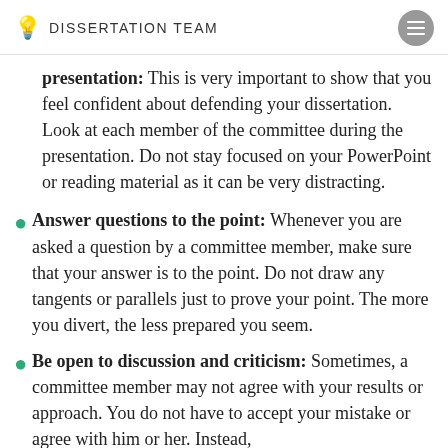DISSERTATION TEAM
presentation: This is very important to show that you feel confident about defending your dissertation. Look at each member of the committee during the presentation. Do not stay focused on your PowerPoint or reading material as it can be very distracting.
Answer questions to the point: Whenever you are asked a question by a committee member, make sure that your answer is to the point. Do not draw any tangents or parallels just to prove your point. The more you divert, the less prepared you seem.
Be open to discussion and criticism: Sometimes, a committee member may not agree with your results or approach. You do not have to accept your mistake or agree with him or her. Instead,